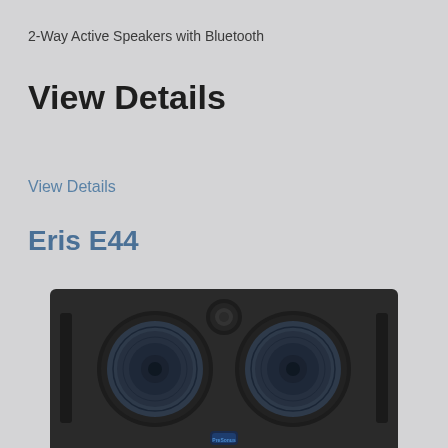2-Way Active Speakers with Bluetooth
View Details
View Details
Eris E44
[Figure (photo): PreSonus Eris E44 studio monitor speaker, dark grey/black horizontal cabinet with two large woofers on left and right, a tweeter in the upper center, and a blue illuminated logo at the bottom center. Two vertical ports on far left and right sides.]